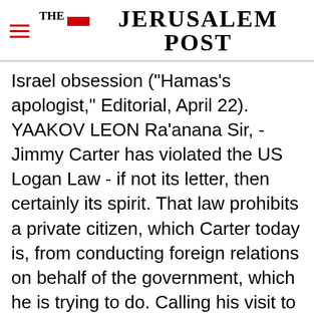THE JERUSALEM POST
Israel obsession ("Hamas's apologist," Editorial, April 22). YAAKOV LEON Ra'anana Sir, - Jimmy Carter has violated the US Logan Law - if not its letter, then certainly its spirit. That law prohibits a private citizen, which Carter today is, from conducting foreign relations on behalf of the government, which he is trying to do. Calling his visit to the Middle East a "study mission" doesn't change that. As Abraham Lincoln once quipped, "If you call a horse's tail a leg, how many legs
Advertisement